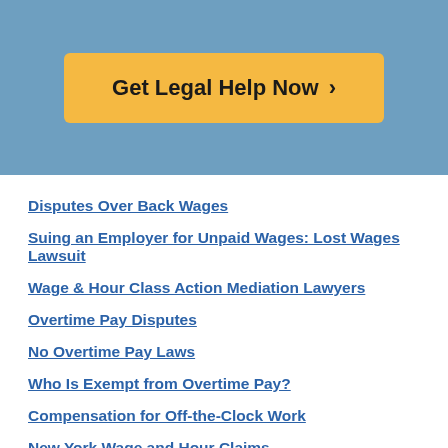[Figure (other): Blue header banner with orange CTA button reading 'Get Legal Help Now >']
Disputes Over Back Wages
Suing an Employer for Unpaid Wages: Lost Wages Lawsuit
Wage & Hour Class Action Mediation Lawyers
Overtime Pay Disputes
No Overtime Pay Laws
Who Is Exempt from Overtime Pay?
Compensation for Off-the-Clock Work
New York Wage and Hour Claims
New York's Wage Theft Prevention Act
Texas Labor Code and Wage Payment Laws
Wage and Salary Claims